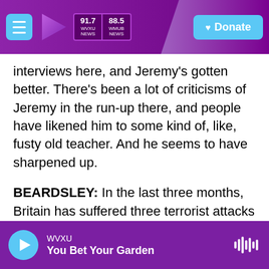WVXU 91.7 NEWS | WMUB 88.5 NEWS | Donate
interviews here, and Jeremy's gotten better. There's been a lot of criticisms of Jeremy in the run-up there, and people have likened him to some kind of, like, fusty old teacher. And he seems to have sharpened up.
BEARDSLEY: In the last three months, Britain has suffered three terrorist attacks - two in London and one in Manchester - that killed more than 30 people. Traditionally, the Tories are seen as tougher on national security. But given that the attacks took place on May's watch, political science professor Peter Catterall says that has upended
WVXU | You Bet Your Garden